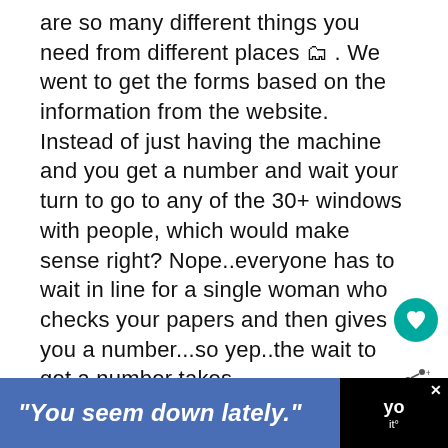are so many different things you need from different places 🗂. We went to get the forms based on the information from the website. Instead of just having the machine and you get a number and wait your turn to go to any of the 30+ windows with people, which would make sense right? Nope..everyone has to wait in line for a single woman who checks your papers and then gives you a number...so yep..the wait to get a number takes
[Figure (other): Teal circular heart/favorite button icon on the right side]
[Figure (other): Share button icon on the right side]
"You seem down lately."